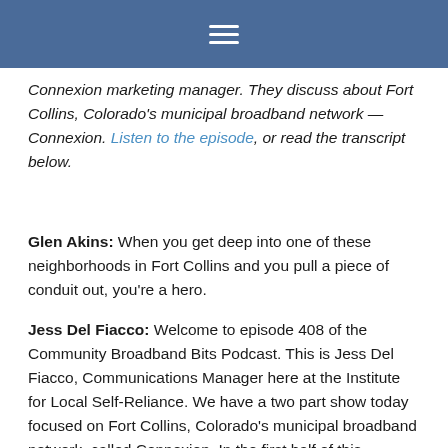≡
Connexion marketing manager. They discuss about Fort Collins, Colorado's municipal broadband network — Connexion. Listen to the episode, or read the transcript below.
Glen Akins: When you get deep into one of these neighborhoods in Fort Collins and you pull a piece of conduit out, you're a hero.
Jess Del Fiacco: Welcome to episode 408 of the Community Broadband Bits Podcast. This is Jess Del Fiacco, Communications Manager here at the Institute for Local Self-Reliance. We have a two part show today focused on Fort Collins, Colorado's municipal broadband network, called Connexion. In the first half of this episode, Christopher talks with Colin Garfield and Glen Akins who helped organize